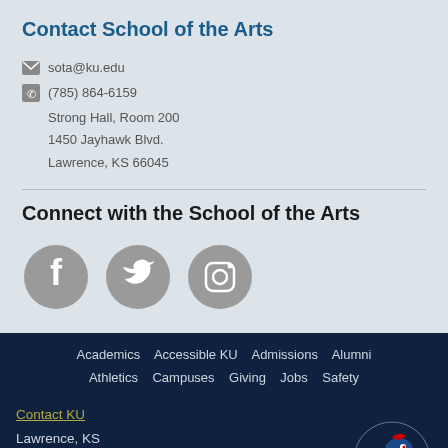Contact School of the Arts
sota@ku.edu
(785) 864-6159
Strong Hall, Room 200
1450 Jayhawk Blvd.
Lawrence, KS 66045
Connect with the School of the Arts
[Figure (illustration): Three social media icons: Facebook, Twitter, and Instagram, displayed as circular grey buttons with white icons.]
Academics   Accessible KU   Admissions   Alumni
Athletics   Campuses   Giving   Jobs   Safety
Contact KU
Lawrence, KS

CMS Login
[Figure (logo): KU Jayhawk mascot logo in red, blue and yellow.]